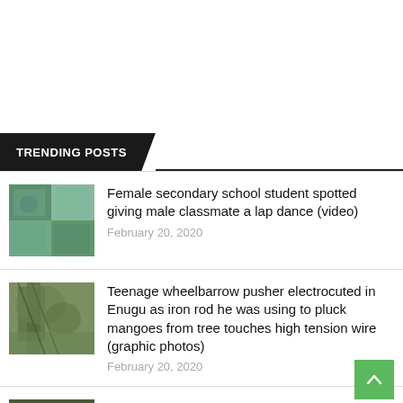TRENDING POSTS
Female secondary school student spotted giving male classmate a lap dance (video)
February 20, 2020
Teenage wheelbarrow pusher electrocuted in Enugu as iron rod he was using to pluck mangoes from tree touches high tension wire (graphic photos)
February 20, 2020
Boko Haram attacks Yobe community
February 21, 2020